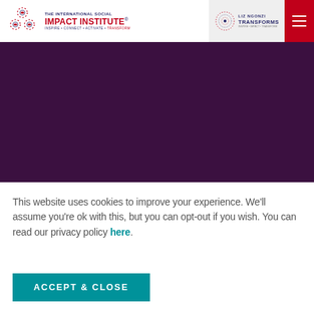[Figure (logo): The International Social Impact Institute logo with gear icons and tagline: INSPIRE • CONNECT • ACTIVATE • TRANSFORM]
[Figure (logo): Liz Ngonzi Transforms logo with spiral icon]
[Figure (other): Red hamburger menu button]
[Figure (other): Dark purple banner/hero image area]
This website uses cookies to improve your experience. We'll assume you're ok with this, but you can opt-out if you wish. You can read our privacy policy here.
ACCEPT & CLOSE